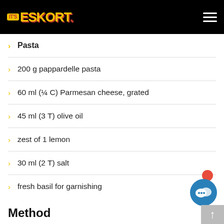IT'S ESKORT
Pasta
200 g pappardelle pasta
60 ml (¼ C) Parmesan cheese, grated
45 ml (3 T) olive oil
zest of 1 lemon
30 ml (2 T) salt
fresh basil for garnishing
Method
Sauce & Meatballs
Pour olive oil into a large pot over high heat.